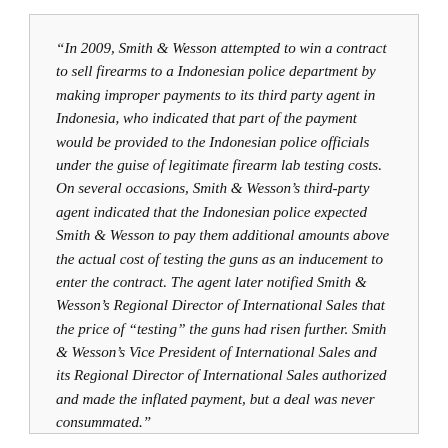“In 2009, Smith & Wesson attempted to win a contract to sell firearms to a Indonesian police department by making improper payments to its third party agent in Indonesia, who indicated that part of the payment would be provided to the Indonesian police officials under the guise of legitimate firearm lab testing costs. On several occasions, Smith & Wesson’s third-party agent indicated that the Indonesian police expected Smith & Wesson to pay them additional amounts above the actual cost of testing the guns as an inducement to enter the contract. The agent later notified Smith & Wesson’s Regional Director of International Sales that the price of “testing” the guns had risen further. Smith & Wesson’s Vice President of International Sales and its Regional Director of International Sales authorized and made the inflated payment, but a deal was never consummated.”